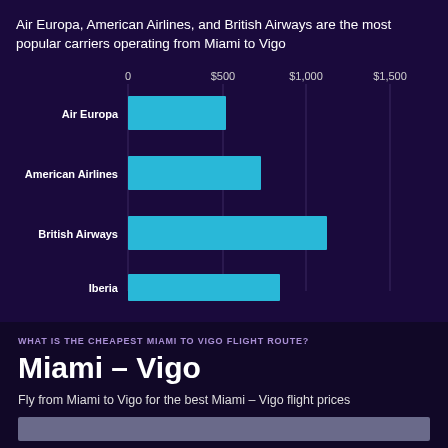[Figure (bar-chart): Air Europa, American Airlines, and British Airways are the most popular carriers operating from Miami to Vigo]
WHAT IS THE CHEAPEST MIAMI TO VIGO FLIGHT ROUTE?
Miami – Vigo
Fly from Miami to Vigo for the best Miami – Vigo flight prices